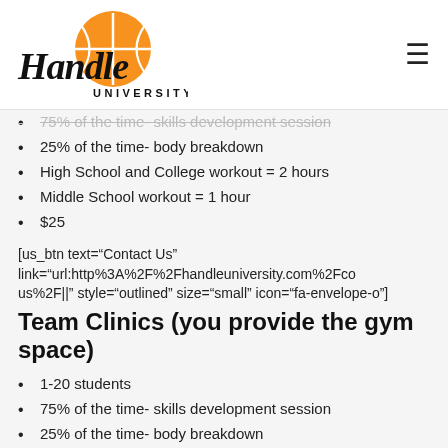Handle University
75% of the time- skills development session
25% of the time- body breakdown
High School and College workout = 2 hours
Middle School workout = 1 hour
$25
[us_btn text="Contact Us" link="url:http%3A%2F%2Fhandleuniversity.com%2Fcontact-us%2F||" style="outlined" size="small" icon="fa-envelope-o"]
Team Clinics (you provide the gym space)
1-20 students
75% of the time- skills development session
25% of the time- body breakdown
Schedule negotiable to meet student needs